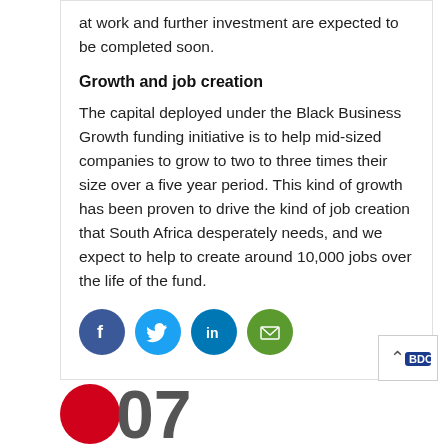at work and further investment are expected to be completed soon.
Growth and job creation
The capital deployed under the Black Business Growth funding initiative is to help mid-sized companies to grow to two to three times their size over a five year period. This kind of growth has been proven to drive the kind of job creation that South Africa desperately needs, and we expect to help to create around 10,000 jobs over the life of the fund.
[Figure (infographic): Social sharing icons: Facebook (blue circle with f), Twitter (light blue circle with bird), LinkedIn (dark blue circle with 'in'), Email (green circle with envelope)]
[Figure (logo): Partial red circle and large grey number visible at bottom of page, partial logo cutoff]